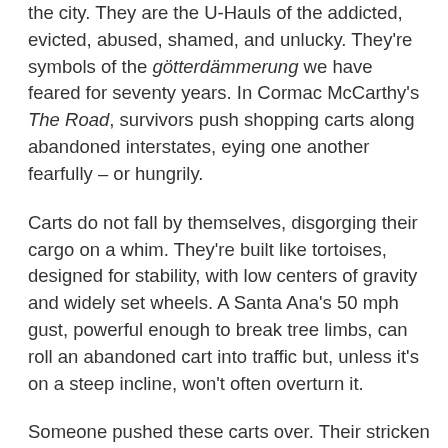the city. They are the U-Hauls of the addicted, evicted, abused, shamed, and unlucky. They're symbols of the götterdämmerung we have feared for seventy years. In Cormac McCarthy's The Road, survivors push shopping carts along abandoned interstates, eying one another fearfully – or hungrily.
Carts do not fall by themselves, disgorging their cargo on a whim. They're built like tortoises, designed for stability, with low centers of gravity and widely set wheels. A Santa Ana's 50 mph gust, powerful enough to break tree limbs, can roll an abandoned cart into traffic but, unless it's on a steep incline, won't often overturn it.
Someone pushed these carts over. Their stricken